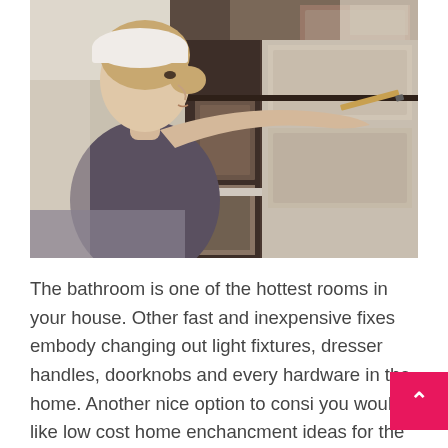[Figure (photo): A woman wearing a white cap and grey t-shirt painting or staining wooden kitchen cabinets with a brush, reaching up to the cabinet above. The cabinets are dark brown wood. The photo is taken indoors.]
The bathroom is one of the hottest rooms in your house. Other fast and inexpensive fixes embody changing out light fixtures, dresser handles, doorknobs and every hardware in the home. Another nice option to consi you would like low cost home enchancment ideas for the toilet is new lighting. Throughout the house you should